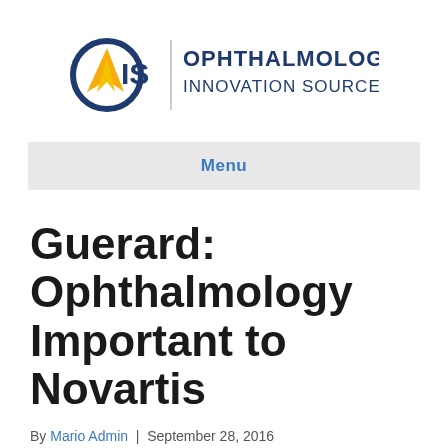[Figure (logo): OIS Ophthalmology Innovation Source logo with circular O, IS letters in dark blue and yellow arrow, and vertical bar separator followed by bold text OPHTHALMOLOGY INNOVATION SOURCE]
Menu
Guerard: Ophthalmology Important to Novartis
By Mario Admin | September 28, 2016